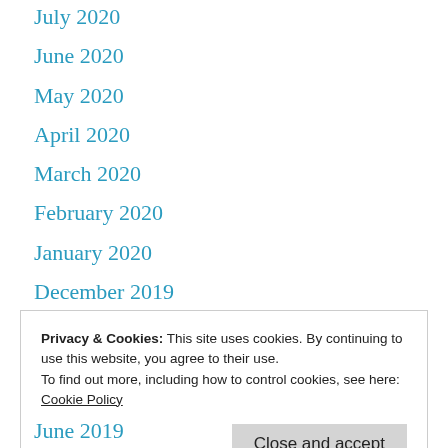July 2020
June 2020
May 2020
April 2020
March 2020
February 2020
January 2020
December 2019
November 2019
Privacy & Cookies: This site uses cookies. By continuing to use this website, you agree to their use.
To find out more, including how to control cookies, see here:
Cookie Policy
Close and accept
June 2019